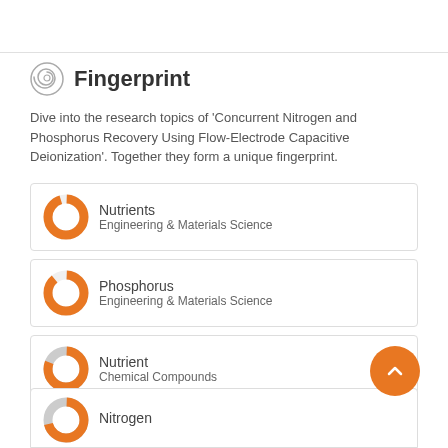Fingerprint
Dive into the research topics of 'Concurrent Nitrogen and Phosphorus Recovery Using Flow-Electrode Capacitive Deionization'. Together they form a unique fingerprint.
Nutrients — Engineering & Materials Science
Phosphorus — Engineering & Materials Science
Nutrient — Chemical Compounds
Nitrogen